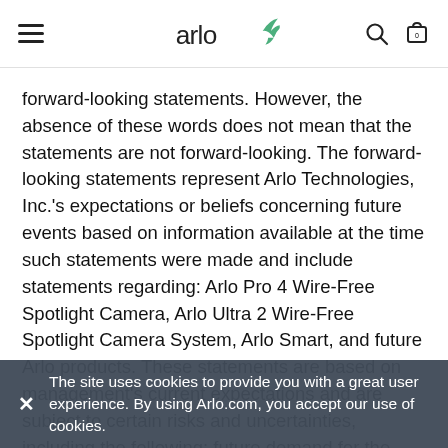Arlo [logo with hamburger menu, search, and cart icons]
forward-looking statements. However, the absence of these words does not mean that the statements are not forward-looking. The forward-looking statements represent Arlo Technologies, Inc.'s expectations or beliefs concerning future events based on information available at the time such statements were made and include statements regarding: Arlo Pro 4 Wire-Free Spotlight Camera, Arlo Ultra 2 Wire-Free Spotlight Camera System, Arlo Smart, and future Arlo products. These statements are based on management's current expectations and are subject to certain risks and uncertainties, including the following: future demand for the Company's products may be lower than anticipated; consumers may choose not to adopt these or other new product offerings or adopt competing products; and product
The site uses cookies to provide you with a great user experience. By using Arlo.com, you accept our use of cookies.